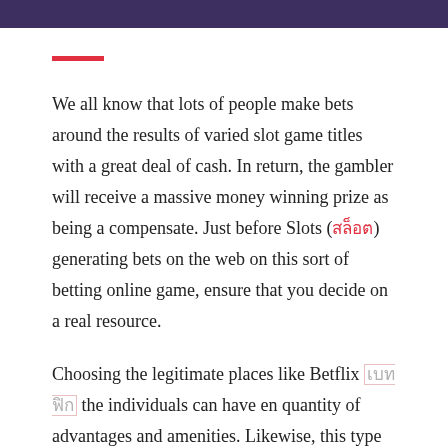We all know that lots of people make bets around the results of varied slot game titles with a great deal of cash. In return, the gambler will receive a massive money winning prize as being a compensate. Just before Slots (สล็อต) generating bets on the web on this sort of betting online game, ensure that you decide on a real resource.
Choosing the legitimate places like Betflix เบทฟิก the individuals can have en quantity of advantages and amenities. Likewise, this type of on-line source's principal motive is usually to guard its users